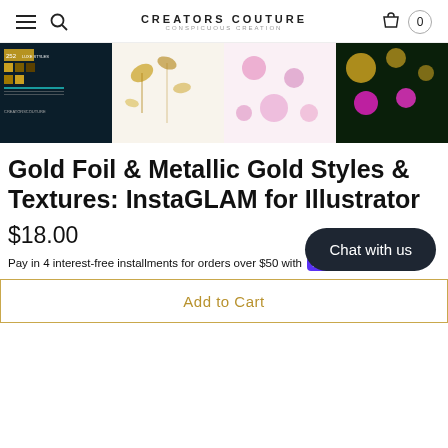CREATORS COUTURE CONSPICUOUS CREATION
[Figure (screenshot): Product image strip showing 4 thumbnail images: (1) dark teal/black background with gold foil styles labeled '252 Luxe Styles', (2) white background with gold botanical foil elements, (3) white background with pink/magenta pressed flowers, (4) dark navy/green background with gold and magenta glitter elements.]
Gold Foil & Metallic Gold Styles & Textures: InstaGLAM for Illustrator
$18.00
Pay in 4 interest-free installments for orders over $50 with shop Pay
Learn more
★★★★★ (1)
Chat with us
Add to Cart